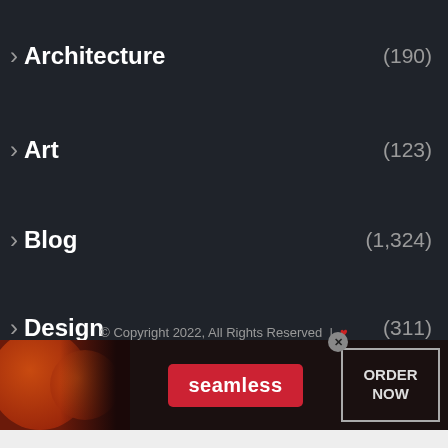> Architecture (190)
> Art (123)
> Blog (1,324)
> Design (311)
> Home (561)
> Other (480)
© Copyright 2022, All Rights Reserved | ♥
[Figure (screenshot): Seamless food delivery advertisement banner with pizza image, Seamless brand logo, and ORDER NOW button]